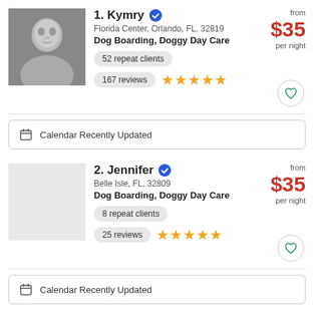1. Kymry — Florida Center, Orlando, FL, 32819 — Dog Boarding, Doggy Day Care — 52 repeat clients — 167 reviews — from $35 per night
Calendar Recently Updated
2. Jennifer — Belle Isle, FL, 32809 — Dog Boarding, Doggy Day Care — 8 repeat clients — 25 reviews — from $35 per night
Calendar Recently Updated
3. Heather — from